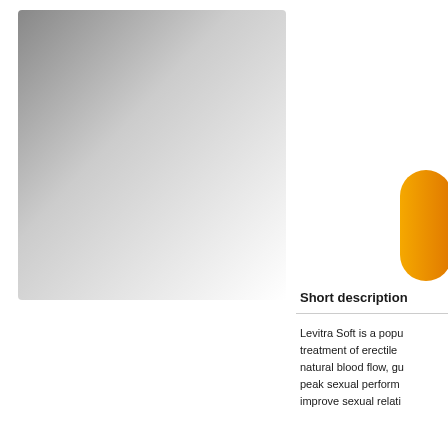[Figure (photo): Product image area — gradient grey square on the left side, representing a product photo placeholder]
[Figure (photo): Yellow/orange pill or tablet shown on the right side of the page]
Short description
Levitra Soft is a popu treatment of erectile natural blood flow, gu peak sexual perform improve sexual relati